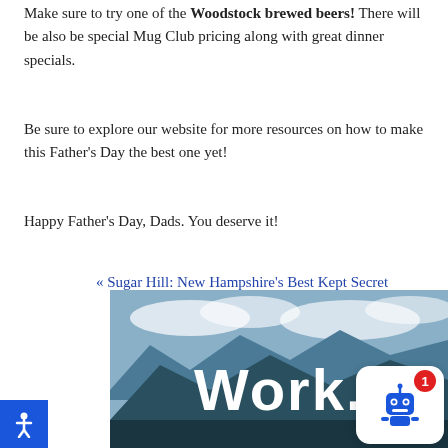Make sure to try one of the Woodstock brewed beers! There will be also be special Mug Club pricing along with great dinner specials.
Be sure to explore our website for more resources on how to make this Father's Day the best one yet!
Happy Father's Day, Dads. You deserve it!
« Sugar Hill: New Hampshire's Best Kept Secret
Family Fun at Clark's Bears »
[Figure (photo): Mountain landscape photo with large bold white text reading 'Work.' overlaid on a scenic mountain scene with clouds]